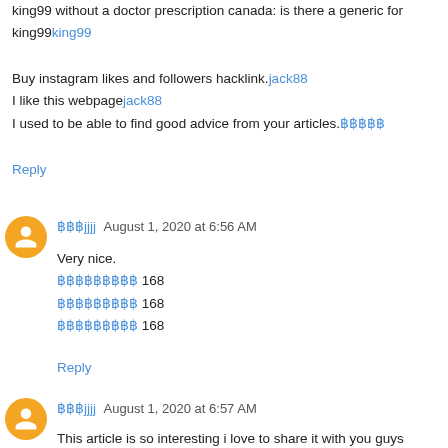king99 without a doctor prescription canada: is there a generic for king99king99
Buy instagram likes and followers hacklink.jack88
I like this webpagejack88
I used to be able to find good advice from your articles.฿฿฿฿฿
Reply
฿฿฿jjjj  August 1, 2020 at 6:56 AM
Very nice.
฿฿฿฿฿฿฿฿฿ 168
฿฿฿฿฿฿฿฿฿ 168
฿฿฿฿฿฿฿฿฿ 168
Reply
฿฿฿jjjj  August 1, 2020 at 6:57 AM
This article is so interesting i love to share it with you guys